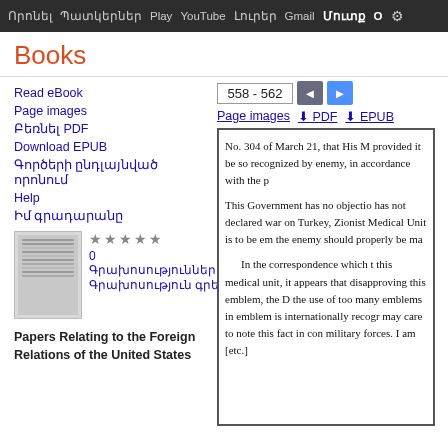Որոնել  Պատկերներ  Play  YouTube  Լուրեր  Gmail  Մուտք  ⚙
Books
Read eBook
Page images
Բեռնել PDF
Download EPUB
Գործի ընդլայնված որոնում
Help
Իմ գրադարանը
0 Գրախոսություններ  Գրախոսություն գրել
Papers Relating to the Foreign Relations of the United States
558 - 562
Page images  PDF  EPUB
No. 304 of March 21, that His M provided it be so recognized by enemy, in accordance with the p

This Government has no objectio has not declared war on Turkey, Zionist Medical Unit is to be em the enemy should properly be ma

In the correspondence which t this medical unit, it appears that disapproving this emblem, the D the use of too many emblems in emblem is internationally recogr may care to note this fact in con military forces. I am [etc.]